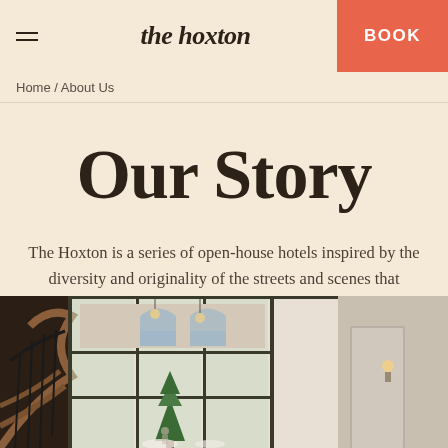the hoxton | BOOK
Home / About Us
Our Story
The Hoxton is a series of open-house hotels inspired by the diversity and originality of the streets and scenes that surrounds us.
[Figure (photo): Interior of The Hoxton hotel showing a grand atrium with large glass windows, a spiral staircase with wooden steps and black iron railings on the left, a central view through tall arched windows to a classical European building facade with a Christmas tree, and warm ambient lighting.]